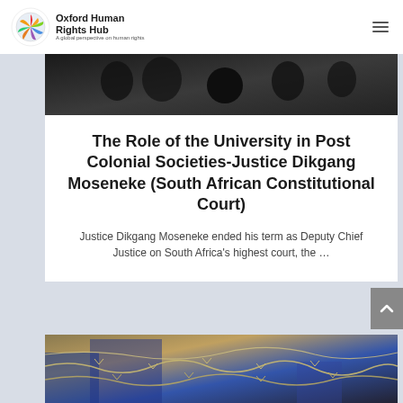Oxford Human Rights Hub — A global perspective on human rights
[Figure (photo): Dark background image at top of article, partial view of people]
The Role of the University in Post Colonial Societies-Justice Dikgang Moseneke (South African Constitutional Court)
Justice Dikgang Moseneke ended his term as Deputy Chief Justice on South Africa's highest court, the ...
[Figure (photo): Photo of people behind barbed wire fencing, showing arms and clothing in blue and dark colors]